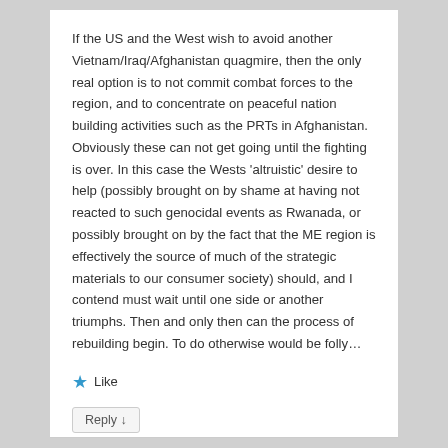If the US and the West wish to avoid another Vietnam/Iraq/Afghanistan quagmire, then the only real option is to not commit combat forces to the region, and to concentrate on peaceful nation building activities such as the PRTs in Afghanistan. Obviously these can not get going until the fighting is over. In this case the Wests 'altruistic' desire to help (possibly brought on by shame at having not reacted to such genocidal events as Rwanada, or possibly brought on by the fact that the ME region is effectively the source of much of the strategic materials to our consumer society) should, and I contend must wait until one side or another triumphs. Then and only then can the process of rebuilding begin. To do otherwise would be folly…
★ Like
Reply ↓